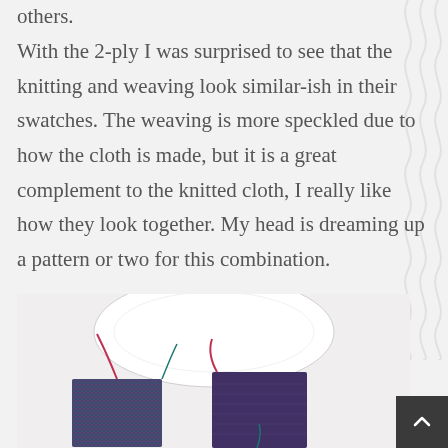others.
With the 2-ply I was surprised to see that the knitting and weaving look similar-ish in their swatches. The weaving is more speckled due to how the cloth is made, but it is a great complement to the knitted cloth, I really like how they look together. My head is dreaming up a pattern or two for this combination.
[Figure (photo): Photo showing knitted and woven swatches in dark purple/teal yarn alongside a white plate or object, displayed on a white surface.]